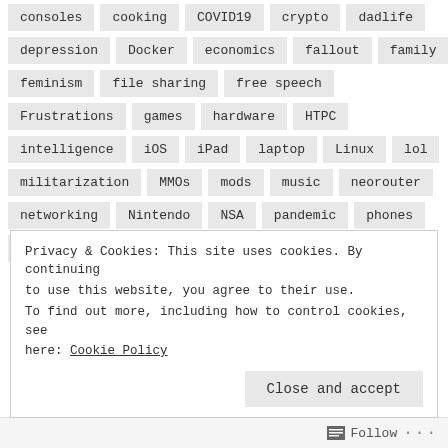consoles  cooking  COVID19  crypto  dadlife
depression  Docker  economics  fallout  family
feminism  file sharing  free speech
Frustrations  games  hardware  HTPC
intelligence  iOS  iPad  laptop  Linux  lol
militarization  MMOs  mods  music  neorouter
networking  Nintendo  NSA  pandemic  phones
police  politics  privacy  Proxmox  putty
Privacy & Cookies: This site uses cookies. By continuing to use this website, you agree to their use. To find out more, including how to control cookies, see here: Cookie Policy
Close and accept
Follow